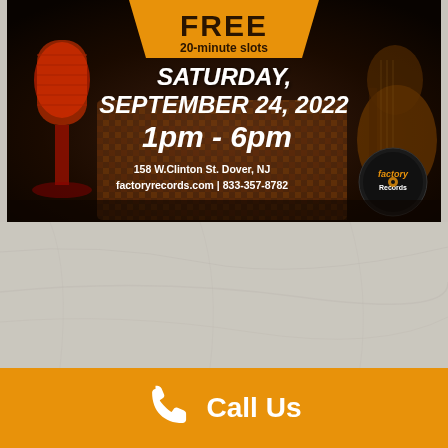[Figure (infographic): Event flyer for Factory Records recording studio open house. Orange pennant banner at top with FREE and 20-minute slots text. Background shows dark warm-toned studio scene with vintage microphone on left and guitar on right. White bold italic text shows: SATURDAY, SEPTEMBER 24, 2022, 1pm - 6pm. Address: 158 W.Clinton St. Dover, NJ, factoryrecords.com | 833-357-8782. Factory Records circular logo in bottom right of flyer.]
Call Us